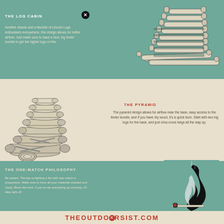THE LOG CABIN
Another classic and a favorite of Lincoln Logs enthusiasts everywhere, this design allows for better airflow. Just make sure to have a nice, big tinder bundle to get the higher logs on fire.
[Figure (illustration): Illustration of a log cabin style fire layout with stacked logs in a grid pattern]
[Figure (illustration): Illustration of a pyramid style fire layout with logs stacked in a pyramid shape]
THE PYRAMID
The pyramid design allows for airflow near the base, easy access to the tinder bundle, and if you have dry wood, it's a quick burn. Start with two big logs for the base, and just criss-cross twigs all the way up.
THE ONE-MATCH PHILOSOPHY
Be patient. The key to lighting a fire with one match is preparation. Make sure to have all your materials stacked and ready. Block the wind. If you've set everything up correctly, it'll take right off.
[Figure (illustration): Illustration of a flame above a lit match]
THEOUTDOORSIST.COM